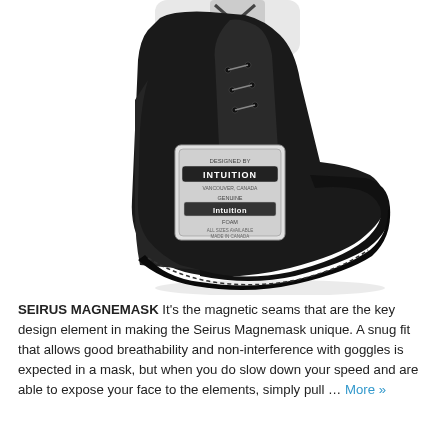[Figure (photo): A black snowboard boot liner with white laces and an Intuition brand label on the side. The label reads 'DESIGNED BY INTUITION, VANCOUVER CANADA, GENUINE INTUITION FOAM'. The liner is black neoprene-like material photographed on a white background.]
SEIRUS MAGNEMASK   It's the magnetic seams that are the key design element in making the Seirus Magnemask unique. A snug fit that allows good breathability and non-interference with goggles is expected in a mask, but when you do slow down your speed and are able to expose your face to the elements, simply pull … More »